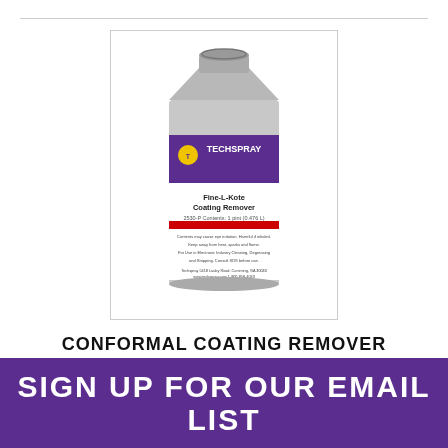[Figure (photo): Techspray Fine-L-Kote Coating Remover product can, silver metal container with purple and white label, conformal coating remover]
CONFORMAL COATING REMOVER
VIEW PRODUCT
SIGN UP FOR OUR EMAIL LIST